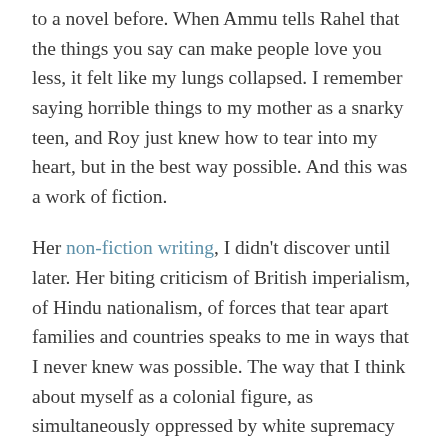to a novel before. When Ammu tells Rahel that the things you say can make people love you less, it felt like my lungs collapsed. I remember saying horrible things to my mother as a snarky teen, and Roy just knew how to tear into my heart, but in the best way possible. And this was a work of fiction.
Her non-fiction writing, I didn't discover until later. Her biting criticism of British imperialism, of Hindu nationalism, of forces that tear apart families and countries speaks to me in ways that I never knew was possible. The way that I think about myself as a colonial figure, as simultaneously oppressed by white supremacy but also as an oppressor who benefits from Western imperialism and U.S. nationalism makes me uncomfortable and extremely angry.
I think, as Roy's novels and articles have taught me, this